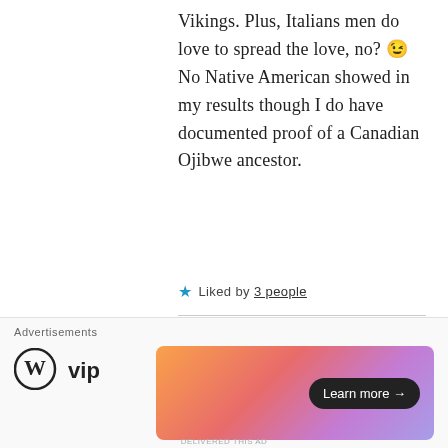Vikings. Plus, Italians men do love to spread the love, no? 😉 No Native American showed in my results though I do have documented proof of a Canadian Ojibwe ancestor.
★ Liked by 3 people
nancynorthcott
[Figure (photo): Partial profile photo of a person with dark hair against white background, shown from shoulders up]
Advertisements
[Figure (logo): WordPress VIP logo - circle W with 'vip' text]
[Figure (screenshot): Advertisement banner with gradient pink/orange/purple background and Learn more arrow button]